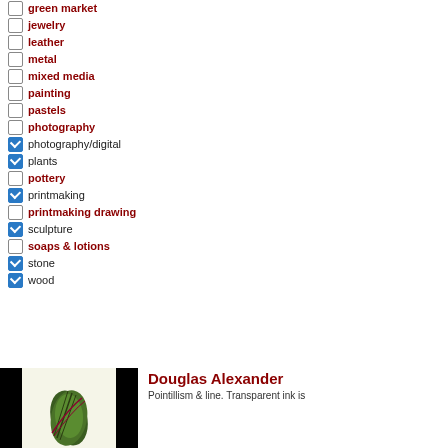green market
jewelry
leather
metal
mixed media
painting
pastels
photography
photography/digital (checked)
plants (checked)
pottery
printmaking (checked)
printmaking drawing
sculpture (checked)
soaps & lotions
stone (checked)
wood (checked)
Douglas Alexander
Pointillism & line. Transparent ink is